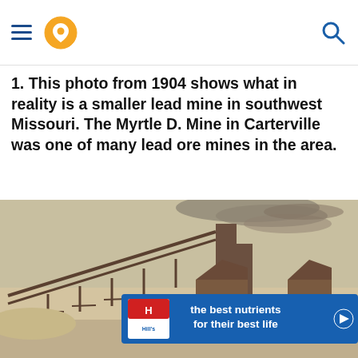Navigation header with hamburger menu, location pin icon, and search icon
1. This photo from 1904 shows what in reality is a smaller lead mine in southwest Missouri. The Myrtle D. Mine in Carterville was one of many lead ore mines in the area.
[Figure (photo): Sepia-toned historical photograph from 1904 showing the Myrtle D. Mine in Carterville, Missouri. The image shows industrial mining structures including tall smokestacks emitting smoke, a long diagonal conveyor or trestle structure, wooden industrial buildings, and another structure at the right. Overlaid at the bottom center is a Hill's Pet Nutrition advertisement banner with white text reading 'the best nutrients for their best life' on a blue background with the Hill's logo and a play button arrow.]